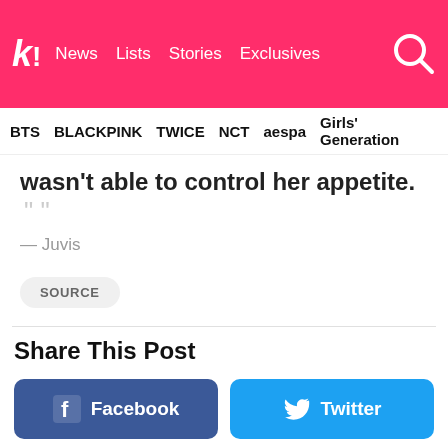kk! News Lists Stories Exclusives
BTS BLACKPINK TWICE NCT aespa Girls' Generation
wasn't able to control her appetite.
— Juvis
SOURCE
Share This Post
Facebook
Twitter